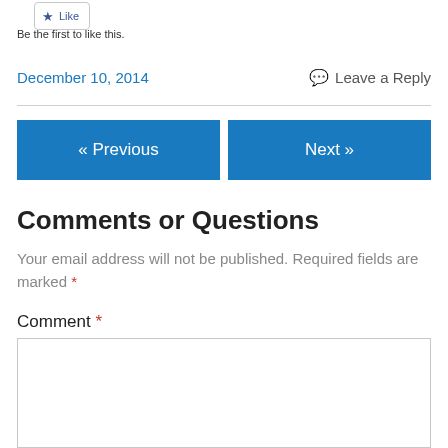[Figure (other): Like button with star icon]
Be the first to like this.
December 10, 2014    Leave a Reply
[Figure (other): Navigation buttons: « Previous and Next »]
Comments or Questions
Your email address will not be published. Required fields are marked *
Comment *
[Figure (other): Comment text input box]